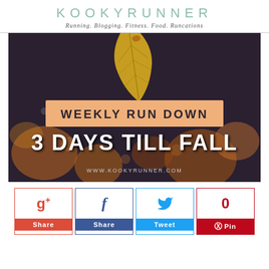KOOKYRUNNER
Running. Blogging. Fitness. Food. Runcations
[Figure (illustration): Dark bokeh background with autumn leaf, orange banner reading WEEKLY RUN DOWN, large white text 3 DAYS TILL FALL, URL www.kookykyrunner.com at bottom]
[Figure (infographic): Social sharing buttons row: Google+ Share (red), Facebook Share (dark blue), Twitter Tweet (light blue), Pinterest Pin with count 0 (red)]